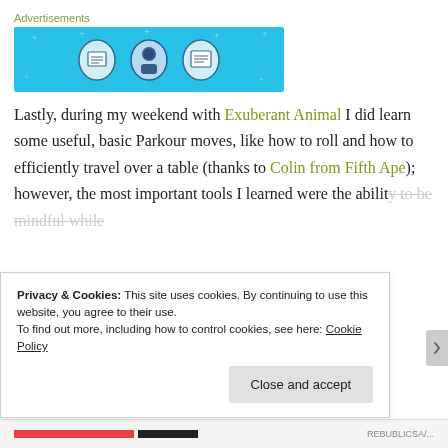[Figure (illustration): Advertisement banner with light blue background showing three circular icons with figures/screens, styled as a tech/productivity ad]
Lastly, during my weekend with Exuberant Animal I did learn some useful, basic Parkour moves, like how to roll and how to efficiently travel over a table (thanks to Colin from Fifth Ape); however, the most important tools I learned were the ability to be mindful while
Privacy & Cookies: This site uses cookies. By continuing to use this website, you agree to their use.
To find out more, including how to control cookies, see here: Cookie Policy
Close and accept